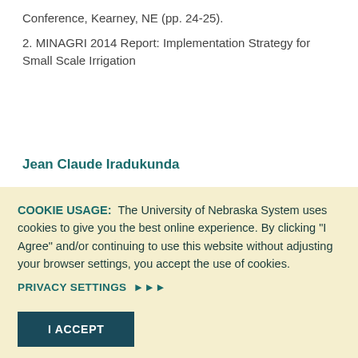Conference, Kearney, NE (pp. 24-25).
2. MINAGRI 2014 Report: Implementation Strategy for Small Scale Irrigation
Jean Claude Iradukunda
COOKIE USAGE: The University of Nebraska System uses cookies to give you the best online experience. By clicking "I Agree" and/or continuing to use this website without adjusting your browser settings, you accept the use of cookies.
PRIVACY SETTINGS ▶▶▶
I ACCEPT